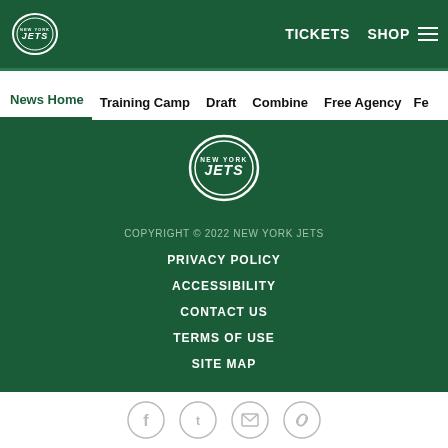TICKETS  SHOP  ≡
News Home  Training Camp  Draft  Combine  Free Agency  Fe
[Figure (logo): New York Jets oval logo in green footer area]
COPYRIGHT © 2022 NEW YORK JETS
PRIVACY POLICY
ACCESSIBILITY
CONTACT US
TERMS OF USE
SITE MAP
[Figure (other): Social share icons: Facebook, Twitter, Email, Link]